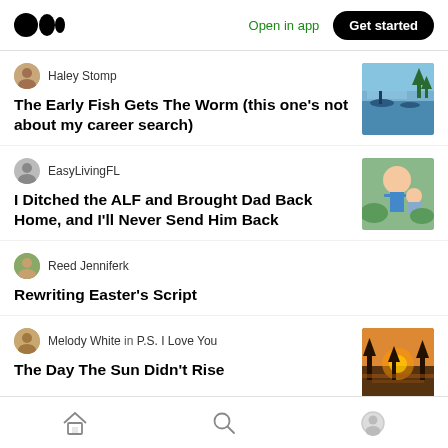Open in app | Get started
Haley Stomp — The Early Fish Gets The Worm (this one's not about my career search)
EasyLivingFL — I Ditched the ALF and Brought Dad Back Home, and I'll Never Send Him Back
Reed Jenniferk — Rewriting Easter's Script
Melody White in P.S. I Love You — The Day The Sun Didn't Rise
Home | Search | Profile